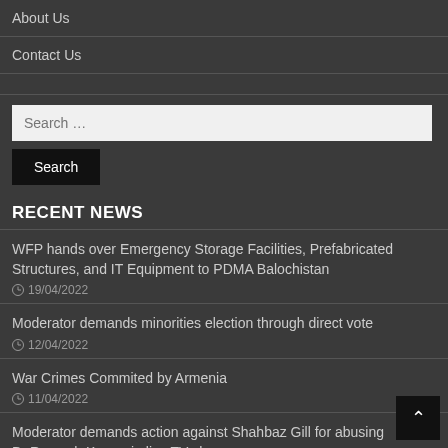About Us
Contact Us
RECENT NEWS
WFP hands over Emergency Storage Facilities, Prefabricated Structures, and IT Equipment to PDMA Balochistan
19/04/2022
Moderator demands minorities election through direct vote
12/04/2022
War Crimes Commited by Armenia
11/04/2022
Moderator demands action against Shahbaz Gill for abusing Dr.Ramesh Kumar in live TV show